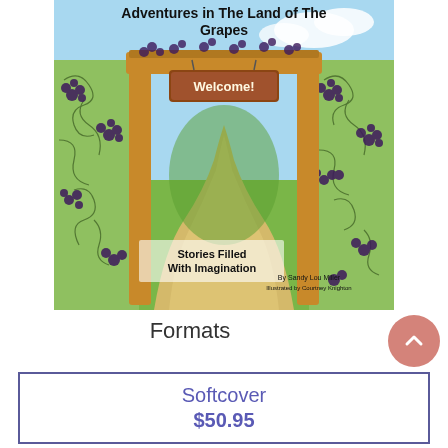[Figure (illustration): Book cover illustration for 'Adventures in The Land of The Grapes' showing a wooden archway with a 'Welcome!' sign, grape vines on either side, a winding yellow path leading into green fields under a blue sky. Text on cover reads 'Stories Filled With Imagination', 'By Sandy Lou Miller', 'Illustrated by Courtney Knighton'.]
Formats
Softcover
$50.95